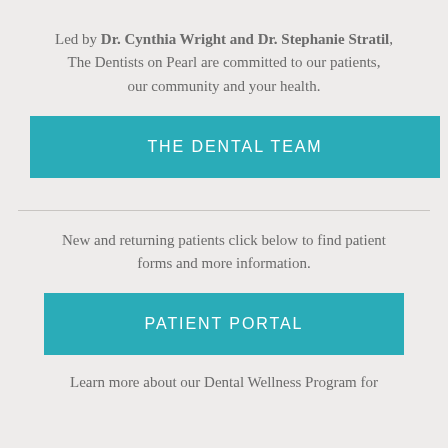Led by Dr. Cynthia Wright and Dr. Stephanie Stratil, The Dentists on Pearl are committed to our patients, our community and your health.
[Figure (other): Teal button labeled THE DENTAL TEAM]
New and returning patients click below to find patient forms and more information.
[Figure (other): Teal button labeled PATIENT PORTAL]
Learn more about our Dental Wellness Program for